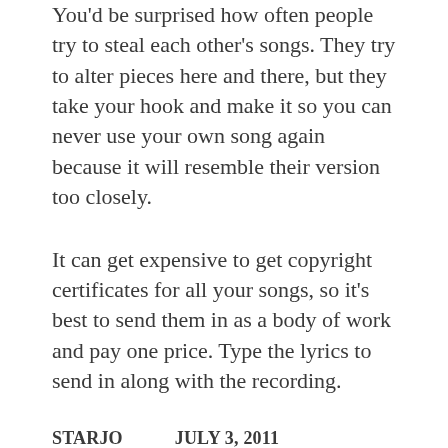You'd be surprised how often people try to steal each other's songs. They try to alter pieces here and there, but they take your hook and make it so you can never use your own song again because it will resemble their version too closely.
It can get expensive to get copyright certificates for all your songs, so it's best to send them in as a body of work and pay one price. Type the lyrics to send in along with the recording.
STARJO          JULY 3, 2011
@lighthose33 - Your landlady most likely knows the definition of personal property. She was